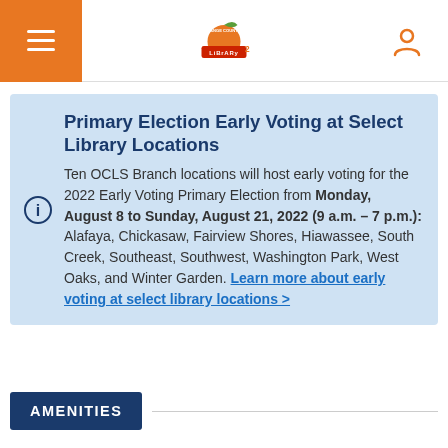Orange County Library System header with hamburger menu, logo, and user icon
Primary Election Early Voting at Select Library Locations
Ten OCLS Branch locations will host early voting for the 2022 Early Voting Primary Election from Monday, August 8 to Sunday, August 21, 2022 (9 a.m. – 7 p.m.): Alafaya, Chickasaw, Fairview Shores, Hiawassee, South Creek, Southeast, Southwest, Washington Park, West Oaks, and Winter Garden. Learn more about early voting at select library locations >
AMENITIES